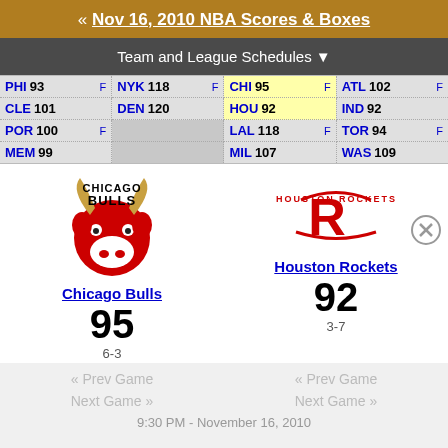« Nov 16, 2010 NBA Scores & Boxes
Team and League Schedules ▼
| PHI 93 F | NYK 118 F | CHI 95 F | ATL 102 F |
| CLE 101 | DEN 120 | HOU 92 | IND 92 |
| POR 100 F |  | LAL 118 F | TOR 94 F |
| MEM 99 |  | MIL 107 | WAS 109 |
[Figure (logo): Chicago Bulls logo]
Chicago Bulls
95
6-3
[Figure (logo): Houston Rockets logo]
Houston Rockets
92
3-7
« Prev Game
Next Game »
« Prev Game
Next Game »
9:30 PM - November 16, 2010